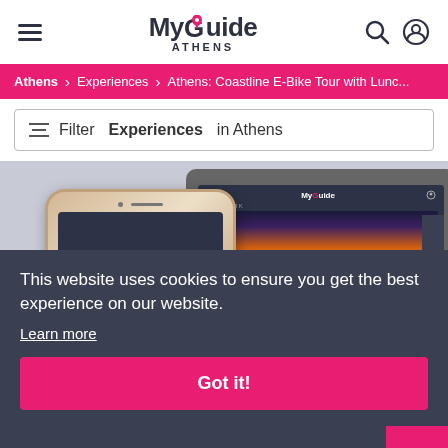My Guide Athens
Athens > Experiences > Athens: Coastline E-Bike Tour with Lunc...
Filter Experiences in Athens
[Figure (screenshot): Screenshot of MyGuide app on tablet and phone devices showing the app interface with a sunset landscape image]
This website uses cookies to ensure you get the best experience on our website.
Learn more
Got it!